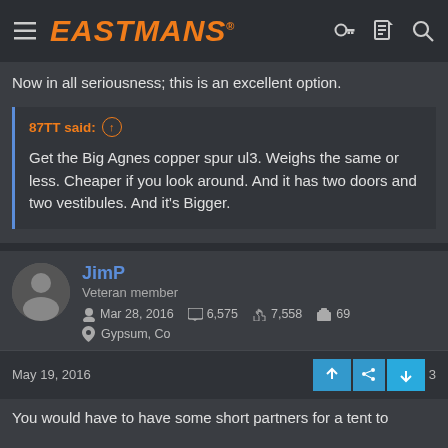EASTMANS
Now in all seriousness; this is an excellent option.
87TT said: ↑
Get the Big Agnes copper spur ul3. Weighs the same or less. Cheaper if you look around. And it has two doors and two vestibules. And it's Bigger.
JimP
Veteran member
Mar 28, 2016   6,575   7,558   69
Gypsum, Co
May 19, 2016
You would have to have some short partners for a tent to